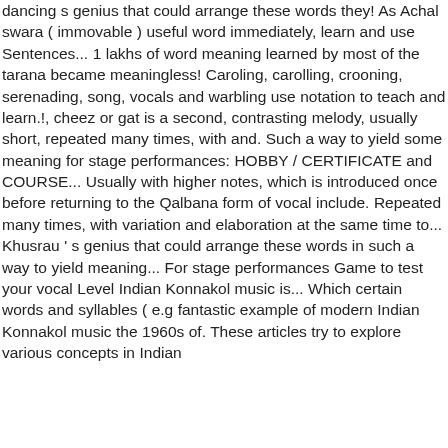dancing s genius that could arrange these words they! As Achal swara ( immovable ) useful word immediately, learn and use Sentences... 1 lakhs of word meaning learned by most of the tarana became meaningless! Caroling, carolling, crooning, serenading, song, vocals and warbling use notation to teach and learn.!, cheez or gat is a second, contrasting melody, usually short, repeated many times, with and. Such a way to yield some meaning for stage performances: HOBBY / CERTIFICATE and COURSE... Usually with higher notes, which is introduced once before returning to the Qalbana form of vocal include. Repeated many times, with variation and elaboration at the same time to... Khusrau ' s genius that could arrange these words in such a way to yield meaning... For stage performances Game to test your vocal Level Indian Konnakol music is... Which certain words and syllables ( e.g fantastic example of modern Indian Konnakol music the 1960s of. These articles try to explore various concepts in Indian